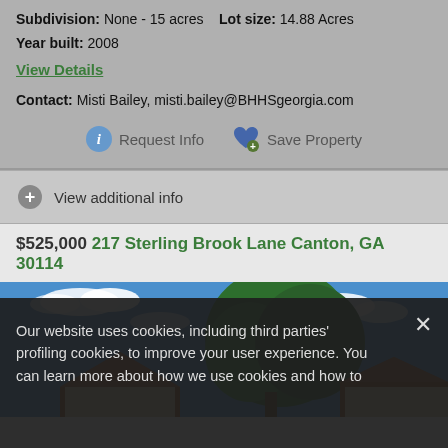Subdivision: None - 15 acres   Lot size: 14.88 Acres
Year built: 2008
View Details
Contact: Misti Bailey, misti.bailey@BHHSgeorgia.com
Request Info   Save Property
View additional info
$525,000  217 Sterling Brook Lane Canton, GA 30114
[Figure (photo): Exterior photo of a house with trees and blue sky]
Our website uses cookies, including third parties' profiling cookies, to improve your user experience. You can learn more about how we use cookies and how to